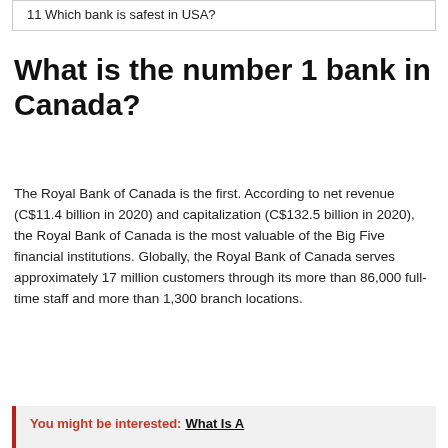11 Which bank is safest in USA?
What is the number 1 bank in Canada?
The Royal Bank of Canada is the first. According to net revenue (C$11.4 billion in 2020) and capitalization (C$132.5 billion in 2020), the Royal Bank of Canada is the most valuable of the Big Five financial institutions. Globally, the Royal Bank of Canada serves approximately 17 million customers through its more than 86,000 full-time staff and more than 1,300 branch locations.
You might be interested: What Is A